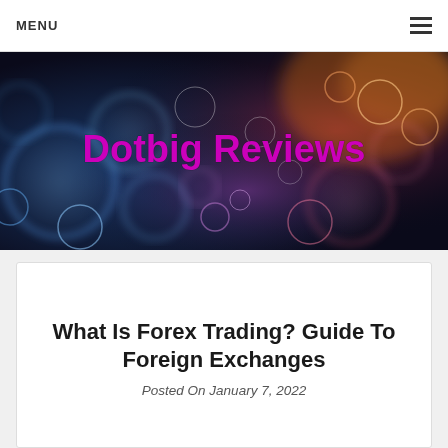MENU
[Figure (illustration): Dotbig Reviews website banner with colorful glowing circles/bokeh on dark background and magenta bold text 'Dotbig Reviews']
What Is Forex Trading? Guide To Foreign Exchanges
Posted On January 7, 2022